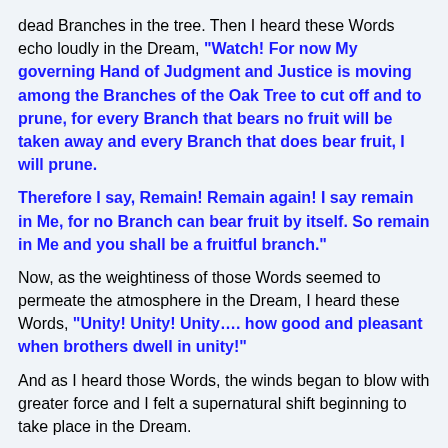dead Branches in the tree. Then I heard these Words echo loudly in the Dream, "Watch! For now My governing Hand of Judgment and Justice is moving among the Branches of the Oak Tree to cut off and to prune, for every Branch that bears no fruit will be taken away and every Branch that does bear fruit, I will prune."

Therefore I say, Remain! Remain again! I say remain in Me, for no Branch can bear fruit by itself. So remain in Me and you shall be a fruitful branch."

Now, as the weightiness of those Words seemed to permeate the atmosphere in the Dream, I heard these Words, "Unity! Unity! Unity.... how good and pleasant when brothers dwell in unity!"

And as I heard those Words, the winds began to blow with greater force and I felt a supernatural shift beginning to take place in the Dream.